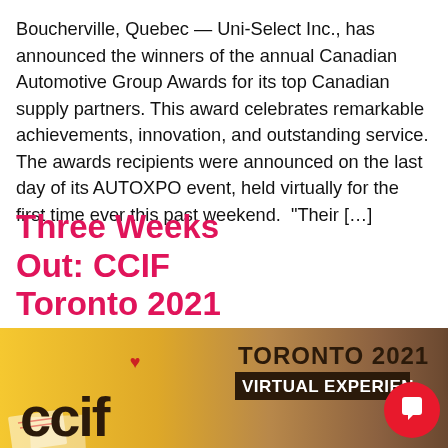Boucherville, Quebec — Uni-Select Inc., has announced the winners of the annual Canadian Automotive Group Awards for its top Canadian supply partners. This award celebrates remarkable achievements, innovation, and outstanding service. The awards recipients were announced on the last day of its AUTOXPO event, held virtually for the first time ever this past weekend.  “Their […]
Three Weeks Out: CCIF Toronto 2021 Virtual Experience a available
[Figure (screenshot): Chat bot popup overlay showing a mascot character and a speech bubble with text 'Got any questions? I'm happy to help.' with a close X button]
[Figure (photo): CCIF Toronto 2021 Virtual Experience banner with CCIF logo on golden/tan background and 'TORONTO 2021 VIRTUAL EXPERIENCE' text]